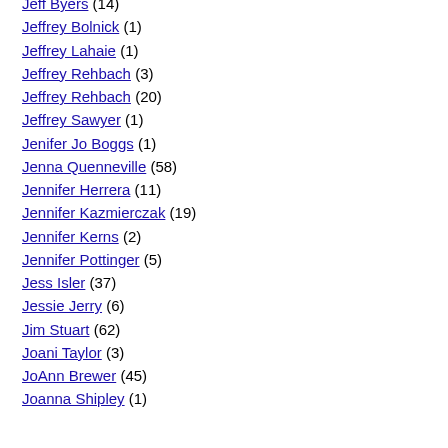Jeff Byers (14)
Jeffrey Bolnick (1)
Jeffrey Lahaie (1)
Jeffrey Rehbach (3)
Jeffrey Rehbach (20)
Jeffrey Sawyer (1)
Jenifer Jo Boggs (1)
Jenna Quenneville (58)
Jennifer Herrera (11)
Jennifer Kazmierczak (19)
Jennifer Kerns (2)
Jennifer Pottinger (5)
Jess Isler (37)
Jessie Jerry (6)
Jim Stuart (62)
Joani Taylor (3)
JoAnn Brewer (45)
Joanna Shipley (1)